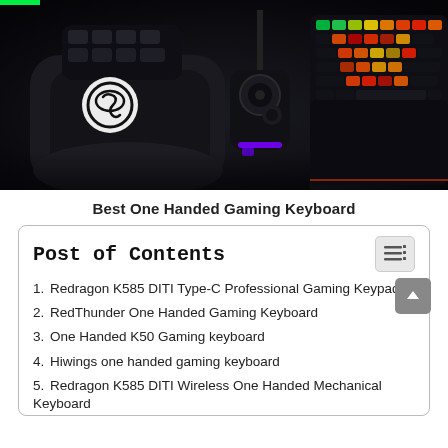[Figure (photo): Dark gaming desk scene with a one-handed gaming keypad (Razer-style ergonomic left-hand controller with wrist rest) in the center, a small joystick/dial accessory with RGB lighting in the middle, and a full mechanical keyboard with colorful RGB backlighting (green, orange, red, yellow) on the right. A white circular logo (resembling the Elgato/SGS symbol) is visible in the upper-left of the image on the keypad. The background is dark/black desk surface.]
Best One Handed Gaming Keyboard
Post of Contents
1. Redragon K585 DITI Type-C Professional Gaming Keypad
2. RedThunder One Handed Gaming Keyboard
3. One Handed K50 Gaming keyboard
4. Hiwings one handed gaming keyboard
5. Redragon K585 DITI Wireless One Handed Mechanical Keyboard